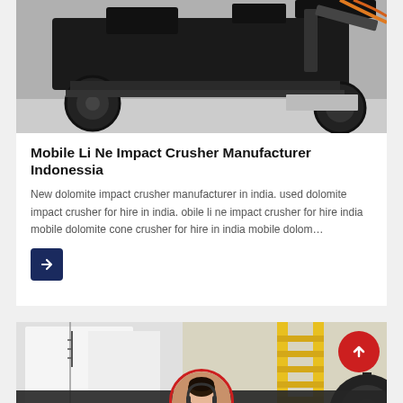[Figure (photo): Dark industrial mobile impact crusher machine photographed from the side on a paved surface]
Mobile Li Ne Impact Crusher Manufacturer Indonessia
New dolomite impact crusher manufacturer in india. used dolomite impact crusher for hire in india. obile li ne impact crusher for hire india mobile dolomite cone crusher for hire in india mobile dolom…
[Figure (photo): Two side-by-side industrial equipment photos: left shows white interior/machinery, right shows yellow ladder and gears in industrial setting. Red scroll-up button overlaid top right.]
Leave Message
Chat Online